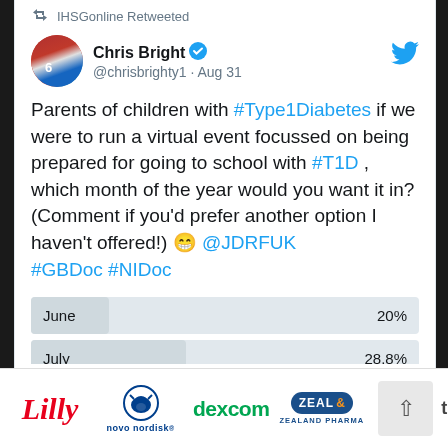IHSGonline Retweeted
Chris Bright @chrisbrighty1 · Aug 31
Parents of children with #Type1Diabetes if we were to run a virtual event focussed on being prepared for going to school with #T1D , which month of the year would you want it in? (Comment if you'd prefer another option I haven't offered!) 😁 @JDRFUK #GBDoc #NIDoc
[Figure (screenshot): Twitter poll showing June at 20% and July at 28.8%]
Sponsor logos: Lilly, Novo Nordisk, Dexcom, Zealand Pharma